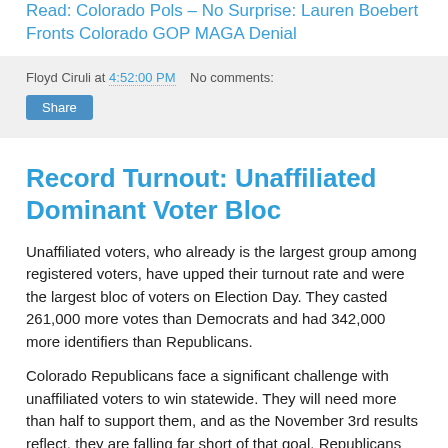Read: Colorado Pols – No Surprise: Lauren Boebert Fronts Colorado GOP MAGA Denial
Floyd Ciruli at 4:52:00 PM   No comments:
Record Turnout: Unaffiliated Dominant Voter Bloc
Unaffiliated voters, who already is the largest group among registered voters, have upped their turnout rate and were the largest bloc of voters on Election Day. They casted 261,000 more votes than Democrats and had 342,000 more identifiers than Republicans.
Colorado Republicans face a significant challenge with unaffiliated voters to win statewide. They will need more than half to support them, and as the November 3rd results reflect, they are falling far short of that goal. Republicans lost both statewide federal races with President Trump receiving